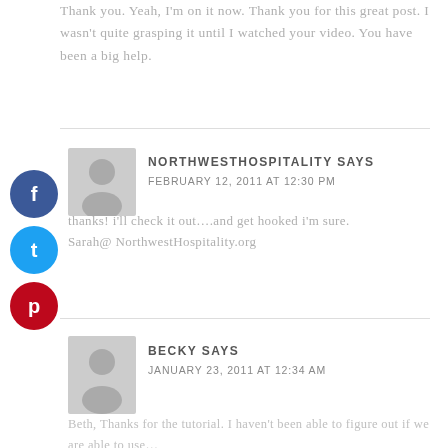Thank you. Yeah, I'm on it now. Thank you for this great post. I wasn't quite grasping it until I watched your video. You have been a big help.
NORTHWESTHOSPITALITY SAYS
FEBRUARY 12, 2011 AT 12:30 PM
thanks! i'll check it out….and get hooked i'm sure.
Sarah@ NorthwestHospitality.org
BECKY SAYS
JANUARY 23, 2011 AT 12:34 AM
Beth, Thanks for the tutorial. I haven't been able to figure out if we are able to use…